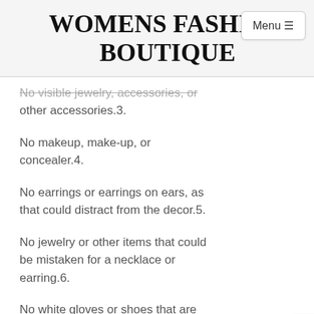WOMENS FASHION BOUTIQUE
No visible jewelry, accessories, or other accessories.3.
No makeup, make-up, or concealer.4.
No earrings or earrings on ears, as that could distract from the decor.5.
No jewelry or other items that could be mistaken for a necklace or earring.6.
No white gloves or shoes that are too small to cover the face of the...